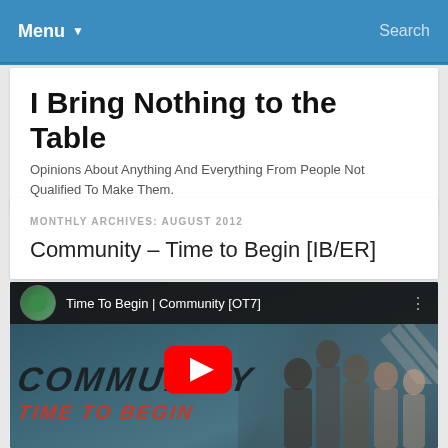Menu ▼   Search
I Bring Nothing to the Table
Opinions About Anything And Everything From People Not Qualified To Make Them.
MONTHLY ARCHIVES: AUGUST 2012
Community – Time to Begin [IB/ER]
[Figure (screenshot): YouTube video thumbnail for 'Time To Begin | Community [OT7]' showing the Community TV show cast with the text COMMUNITY TIME TO BEGIN overlaid, and a YouTube play button in the center.]